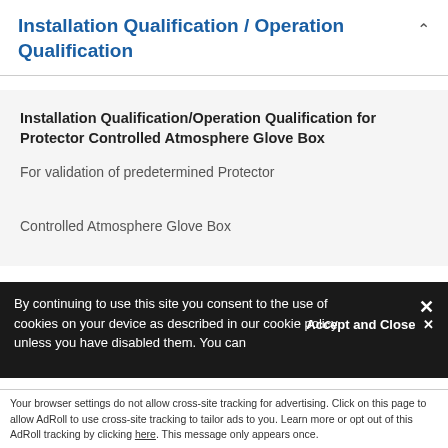Installation Qualification / Operation Qualification
Installation Qualification/Operation Qualification for Protector Controlled Atmosphere Glove Box
For validation of predetermined Protector Controlled Atmosphere Glove Box specifications. Provides a checklist of installation and operation qualifications to complete when beginning operation on a
By continuing to use this site you consent to the use of cookies on your device as described in our cookie policy unless you have disabled them. You can
Accept and Close ✕
Your browser settings do not allow cross-site tracking for advertising. Click on this page to allow AdRoll to use cross-site tracking to tailor ads to you. Learn more or opt out of this AdRoll tracking by clicking here. This message only appears once.